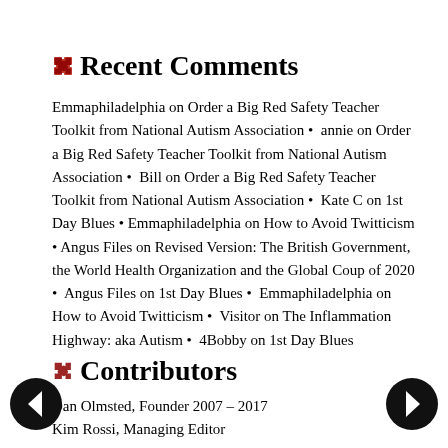Recent Comments
Emmaphiladelphia on Order a Big Red Safety Teacher Toolkit from National Autism Association • annie on Order a Big Red Safety Teacher Toolkit from National Autism Association • Bill on Order a Big Red Safety Teacher Toolkit from National Autism Association • Kate C on 1st Day Blues • Emmaphiladelphia on How to Avoid Twitticism • Angus Files on Revised Version: The British Government, the World Health Organization and the Global Coup of 2020 • Angus Files on 1st Day Blues • Emmaphiladelphia on How to Avoid Twitticism • Visitor on The Inflammation Highway: aka Autism • 4Bobby on 1st Day Blues
Contributors
Dan Olmsted, Founder 2007 – 2017
Kim Rossi, Managing Editor